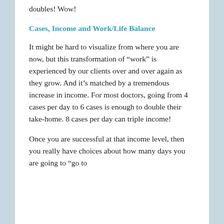doubles! Wow!
Cases, Income and Work/Life Balance
It might be hard to visualize from where you are now, but this transformation of “work” is experienced by our clients over and over again as they grow. And it’s matched by a tremendous increase in income. For most doctors, going from 4 cases per day to 6 cases is enough to double their take-home. 8 cases per day can triple income!
Once you are successful at that income level, then you really have choices about how many days you are going to “go to